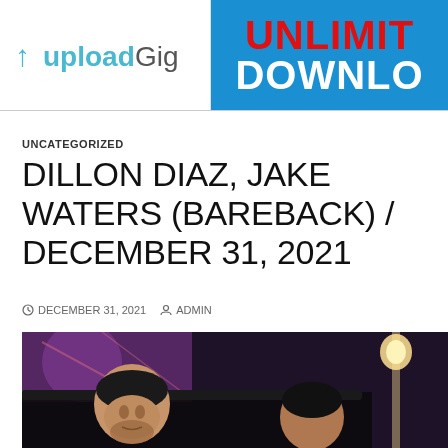[Figure (screenshot): Banner advertisement showing UploadGig logo on left (white background) and 'UNLIMITED DOWNLOAD' text on right (blue background with red and white text)]
UNCATEGORIZED
DILLON DIAZ, JAKE WATERS (BAREBACK) / DECEMBER 31, 2021
DECEMBER 31, 2021   ADMIN
[Figure (photo): Photo of two men in a room with a lamp and colorful wall art visible in the background]